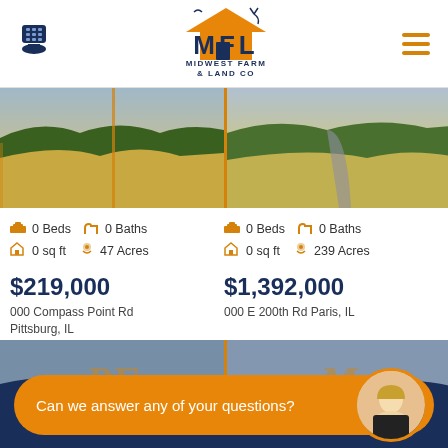[Figure (logo): Midwest Farm & Land Co logo with MFL text and orange house/deer graphic]
[Figure (photo): Aerial photo of farm field with trees - left listing]
[Figure (photo): Aerial photo of farm field - right listing]
0 Beds  0 Baths  0 sq ft  47 Acres
0 Beds  0 Baths  0 sq ft  239 Acres
$219,000
000 Compass Point Rd Pittsburg, IL
$1,392,000
000 E 200th Rd Paris, IL
[Figure (photo): Bottom left property photo with MFL watermark]
[Figure (photo): Bottom right property photo with MFL watermark]
Can we answer any of your questions?
SEARCH